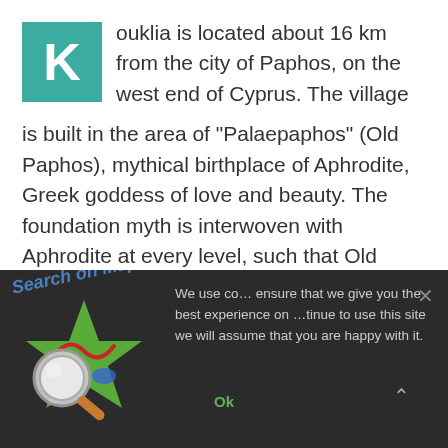[Figure (illustration): Teal square with white letter K as drop cap]
ouklia is located about 16 km from the city of Paphos, on the west end of Cyprus. The village is built in the area of “Palaepaphos” (Old Paphos), mythical birthplace of Aphrodite, Greek goddess of love and beauty. The foundation myth is interwoven with Aphrodite at every level, such that Old Paphos became the centre for her worship in the ancient world.
Excavations have been conducted at times, bringing to
surface th’ ous temple of “Aphrodite of Pafe” (Pafa...
[Figure (illustration): Map search icon with magnifying glass on a green map with red route lines]
Search on Map..
We use co… ensure that we give you the best experience on …tinue to use this site we will assume that you are happy with it.
Ok